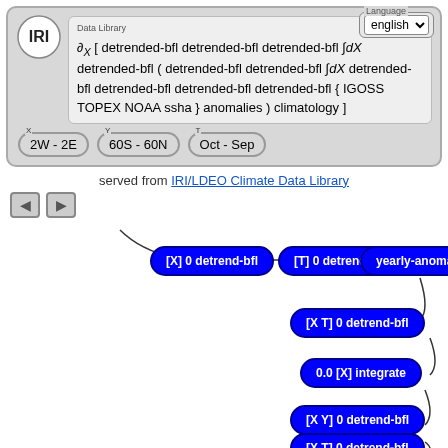[Figure (screenshot): IRI Data Library web interface showing a formula and navigation controls]
served from IRI/LDEO Climate Data Library
[Figure (flowchart): Flow diagram showing nodes: [X] 0 detrend-bfl -> [T] 0 detrend-bfl -> yearly-anomalies, then [X T] 0 detrend-bfl, 0.0 [X] integrate, [X Y] 0 detrend-bfl, [X T] 0 detrend-bfl connected by curved lines]